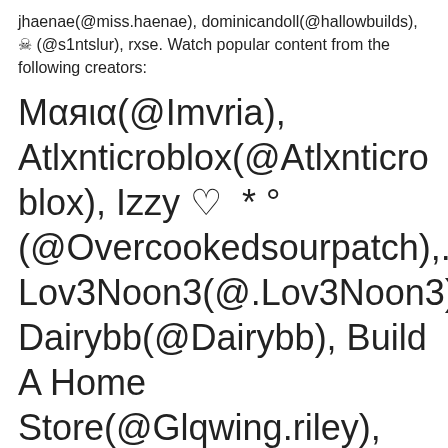jhaenae(@miss.haenae), dominicandoll(@hallowbuilds), ☠ (@s1ntslur), rxse. Watch popular content from the following creators:
Мαяια(@Imvria), Atlxnticroblox(@Atlxnticro blox), Izzy ♡ * ° (@Overcookedsourpatch),. Lov3Noon3(@.Lov3Noon3), Dairybb(@Dairybb), Build A Home Store(@Glqwing.riley), Xxttdiorxx(@Its_Xxttdiorx x), 🟫🟫🟫🟫🟫